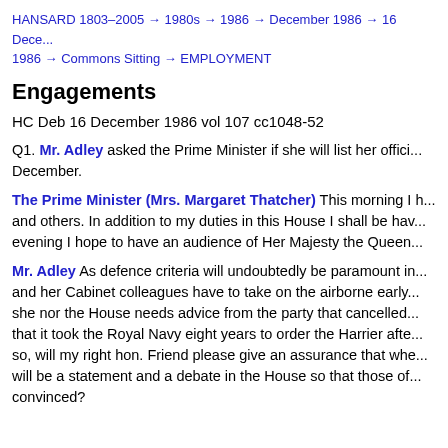HANSARD 1803–2005 → 1980s → 1986 → December 1986 → 16 December 1986 → Commons Sitting → EMPLOYMENT
Engagements
HC Deb 16 December 1986 vol 107 cc1048-52
Q1. Mr. Adley asked the Prime Minister if she will list her official engagements for Tuesday, 16 December.
The Prime Minister (Mrs. Margaret Thatcher) This morning I had meetings with ministerial colleagues and others. In addition to my duties in this House I shall be having further meetings later today. This evening I hope to have an audience of Her Majesty the Queen.
Mr. Adley As defence criteria will undoubtedly be paramount in the decision that the Prime Minister and her Cabinet colleagues have to take on the airborne early warning aircraft, and as neither she nor the House needs advice from the party that cancelled the TSR2 or from a Government that ensured that it took the Royal Navy eight years to order the Harrier after it had been developed, will my right hon. Friend please give an assurance that when a decision has been reached there will be a statement and a debate in the House so that those of us who are not yet convinced?